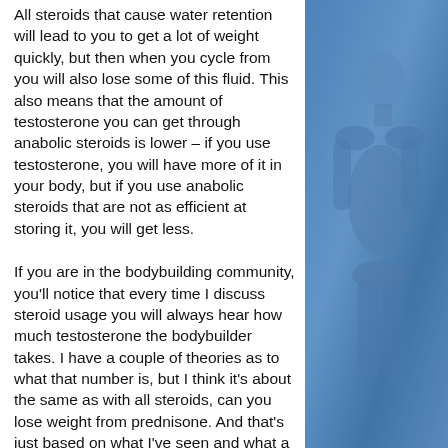All steroids that cause water retention will lead to you to get a lot of weight quickly, but then when you cycle from you will also lose some of this fluid. This also means that the amount of testosterone you can get through anabolic steroids is lower – if you use testosterone, you will have more of it in your body, but if you use anabolic steroids that are not as efficient at storing it, you will get less.
If you are in the bodybuilding community, you'll notice that every time I discuss steroid usage you will always hear how much testosterone the bodybuilder takes. I have a couple of theories as to what that number is, but I think it's about the same as with all steroids, can you lose weight from prednisone. And that's just based on what I've seen and what a lot of bodybuilders say, weight loss peptides australia. When a bodybuilder or someone trying to be a
[Figure (photo): A blue-tinted photograph of a person, likely a bodybuilder, shown from the side. The image is overlaid with a blue color tint giving it a cool, monochromatic appearance.]